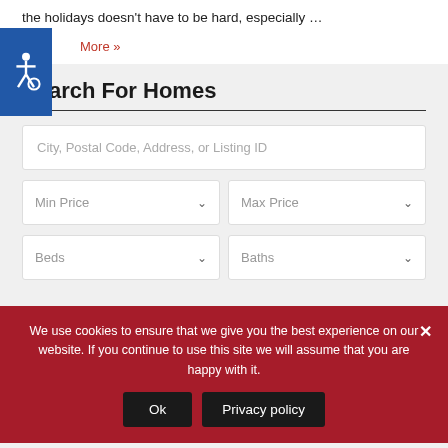the holidays doesn't have to be hard, especially …
More »
Search For Homes
City, Postal Code, Address, or Listing ID
Min Price
Max Price
Beds
Baths
We use cookies to ensure that we give you the best experience on our website. If you continue to use this site we will assume that you are happy with it.
Ok
Privacy policy